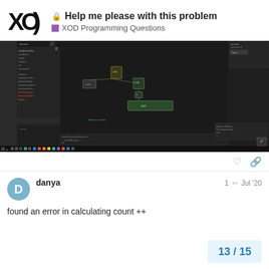Help me please with this problem – XOD Programming Questions
[Figure (screenshot): Screenshot of XOD IDE showing a visual programming environment with nodes connected by wires on a dark canvas. The left panel shows a list of components. Several green nodes are visible in the center of the canvas. The bottom shows a terminal/log area with error text.]
danya   1  Jul '20
found an error in calculating count ++
13 / 15